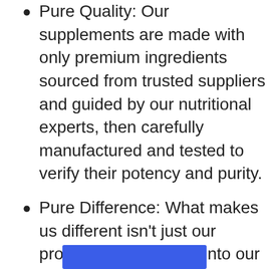Pure Quality: Our supplements are made with only premium ingredients sourced from trusted suppliers and guided by our nutritional experts, then carefully manufactured and tested to verify their potency and purity.
Pure Difference: What makes us different isn't just our process or what goes into our supplements — what we leave out matters, too. Pure Encapsulations products are FREE FROM wheat, eggs, tree nuts & peanuts, gluten, artificial colors, flavors & sweeteners, coatings and shellacs, GMOs, and unnecessary binders, fillers & preservatives.
[Figure (other): Blue rectangular button/bar partially visible at the bottom of the page]